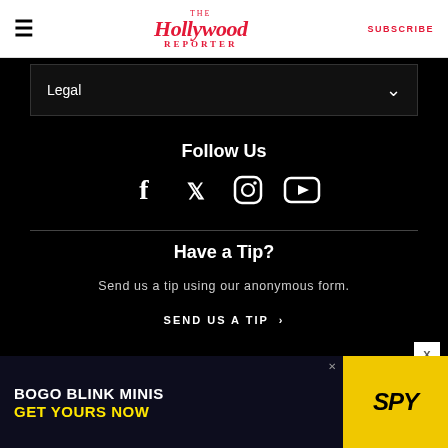The Hollywood Reporter | SUBSCRIBE
Legal
Follow Us
[Figure (illustration): Social media icons: Facebook, Twitter, Instagram, YouTube]
Have a Tip?
Send us a tip using our anonymous form.
SEND US A TIP →
[Figure (infographic): Advertisement banner: BOGO BLINK MINIS GET YOURS NOW with SPY logo on yellow background]